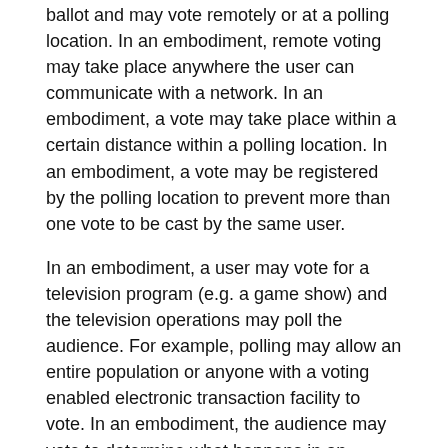ballot and may vote remotely or at a polling location. In an embodiment, remote voting may take place anywhere the user can communicate with a network. In an embodiment, a vote may take place within a certain distance within a polling location. In an embodiment, a vote may be registered by the polling location to prevent more than one vote to be cast by the same user.
In an embodiment, a user may vote for a television program (e.g. a game show) and the television operations may poll the audience. For example, polling may allow an entire population or anyone with a voting enabled electronic transaction facility to vote. In an embodiment, the audience may vote to determine what happens in an alternate ending of a television program.
In an embodiment, a vote may be based on or relate to advertising. For example, a user of an electronic vote transaction facility may see, hear or otherwise interact with an advertisement and he may vote for, or elect a preference, based on the advertisement.
In an embodiment, a user may store a ballot on an electronic vote transaction facility and the ballot may